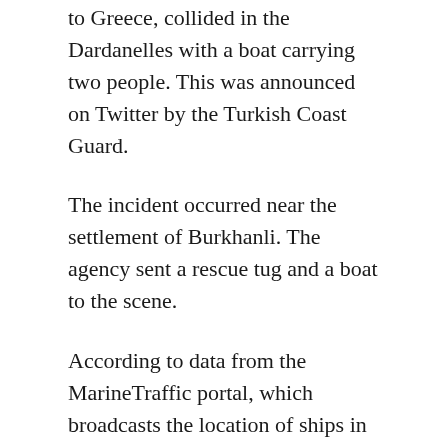to Greece, collided in the Dardanelles with a boat carrying two people. This was announced on Twitter by the Turkish Coast Guard.
The incident occurred near the settlement of Burkhanli. The agency sent a rescue tug and a boat to the scene.
According to data from the MarineTraffic portal, which broadcasts the location of ships in real time, the 140-meter Karakuz is now located near the port city of Canakkale. According to the system, it moves independently in its direction. Next to him is the Turkeli tug, which the authorities sent to the scene. The port of Canakkale is indicated as the destination of Turkalic...